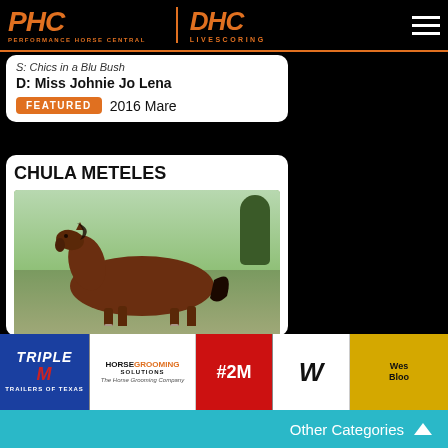PHC PERFORMANCE HORSE CENTRAL | DHC LIVESCORING
S: Chics in a Blu Bush   D: Miss Johnie Jo Lena
FEATURED   2016 Mare
CHULA METELES
[Figure (photo): Brown/bay horse standing in a field with green grass and trees in the background]
[Figure (logo): Triple M Trailers of Texas sponsor logo]
[Figure (logo): Horse Grooming Solutions sponsor logo]
[Figure (logo): #2M sponsor logo]
[Figure (logo): W logo sponsor]
[Figure (logo): Western Bloodstock partial sponsor logo]
Other Categories